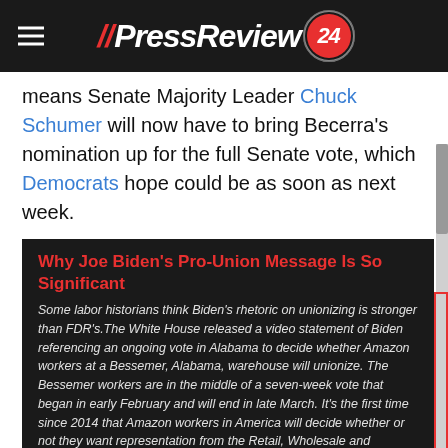//PressReview 24
means Senate Majority Leader Chuck Schumer will now have to bring Becerra's nomination up for the full Senate vote, which Democrats hope could be as soon as next week.
Why Joe Biden's Pro-Union Message Is So Significant
Some labor historians think Biden's rhetoric on unionizing is stronger than FDR's.The White House released a video statement of Biden referencing an ongoing vote in Alabama to decide whether Amazon workers at a Bessemer, Alabama, warehouse will unionize. The Bessemer workers are in the middle of a seven-week vote that began in early February and will end in late March. It's the first time since 2014 that Amazon workers in America will decide whether or not they want representation from the Retail, Wholesale and Department Store Union.
When Biden's nominations were announced, Becerra stood out as a priority given the coronavirus outbreak that has now killed more than 520,000 Americans, but